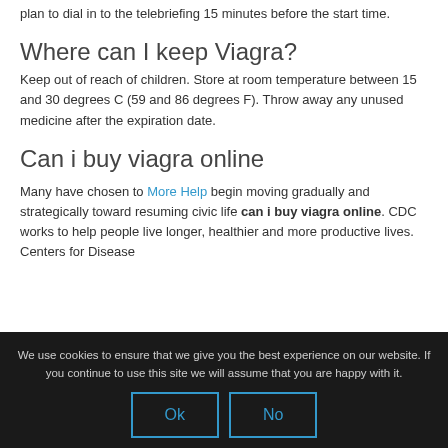plan to dial in to the telebriefing 15 minutes before the start time.
Where can I keep Viagra?
Keep out of reach of children. Store at room temperature between 15 and 30 degrees C (59 and 86 degrees F). Throw away any unused medicine after the expiration date.
Can i buy viagra online
Many have chosen to More Help begin moving gradually and strategically toward resuming civic life can i buy viagra online. CDC works to help people live longer, healthier and more productive lives. Centers for Disease
We use cookies to ensure that we give you the best experience on our website. If you continue to use this site we will assume that you are happy with it.